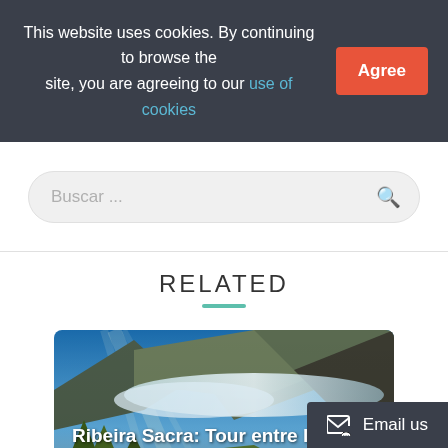This website uses cookies. By continuing to browse the site, you are agreeing to our use of cookies  Agree
Buscar ...
RELATED
[Figure (photo): Mountain landscape with valley, river, green trees and clouds with text overlay reading 'Ribeira Sacra: Tour entre lo Sacro y el Vino']
Email us